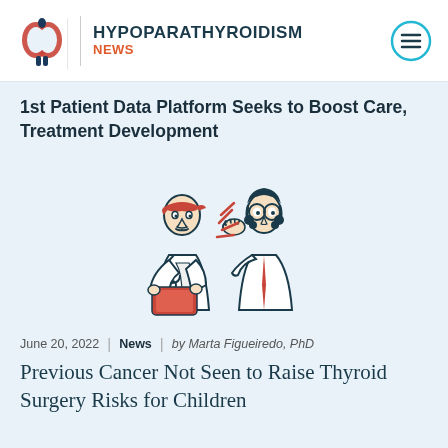HYPOPARATHYROIDISM NEWS
1st Patient Data Platform Seeks to Boost Care, Treatment Development
[Figure (illustration): Line-art illustration of two medical professionals: a male doctor wearing a red bandana and holding a red tablet, speaking with a female doctor in glasses who has her hand raised to her mouth in surprise. Red sunburst lines indicate something notable being shared.]
June 20, 2022 | News | by Marta Figueiredo, PhD
Previous Cancer Not Seen to Raise Thyroid Surgery Risks for Children